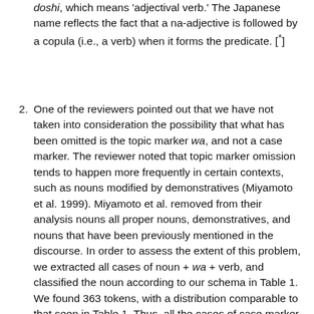doshi, which means 'adjectival verb.' The Japanese name reflects the fact that a na-adjective is followed by a copula (i.e., a verb) when it forms the predicate. [*]
One of the reviewers pointed out that we have not taken into consideration the possibility that what has been omitted is the topic marker wa, and not a case marker. The reviewer noted that topic marker omission tends to happen more frequently in certain contexts, such as nouns modified by demonstratives (Miyamoto et al. 1999). Miyamoto et al. removed from their analysis nouns all proper nouns, demonstratives, and nouns that have been previously mentioned in the discourse. In order to assess the extent of this problem, we extracted all cases of noun + wa + verb, and classified the noun according to our schema in Table 1. We found 363 tokens, with a distribution comparable to that seen in Table 1. Thus, all the cases of case marker omission are prone to this problem. Without examining each token one by one in context, we have no way of assessing what was omitted. We